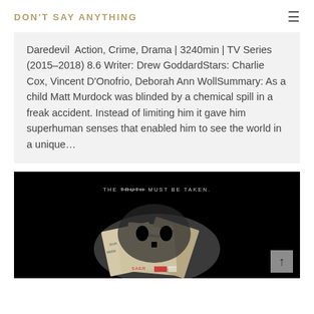DON'T SAY ANYTHING
Daredevil  Action, Crime, Drama | 3240min | TV Series (2015–2018) 8.6 Writer: Drew GoddardStars: Charlie Cox, Vincent D'Onofrio, Deborah Ann WollSummary: As a child Matt Murdock was blinded by a chemical spill in a freak accident. Instead of limiting him it gave him superhuman senses that enabled him to see the world in a unique…
[Figure (photo): Dark promotional image with text 'THE TRUTH MUST BE TAKEN.' and a skull-like shape made of layered newspapers/documents with text fragments including 'erus', 'ttleblo', 'Kandahar', 'operation' visible on a black background.]